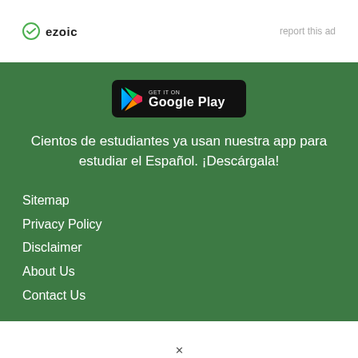[Figure (logo): Ezoic logo with circular icon and text 'ezoic']
report this ad
[Figure (logo): GET IT ON Google Play button badge]
Cientos de estudiantes ya usan nuestra app para estudiar el Español. ¡Descárgala!
Sitemap
Privacy Policy
Disclaimer
About Us
Contact Us